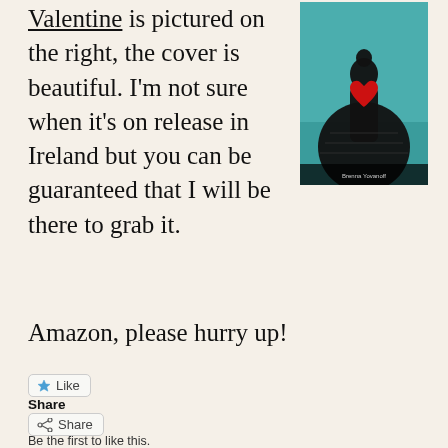Valentine is pictured on the right, the cover is beautiful. I'm not sure when it's on release in Ireland but you can be guaranteed that I will be there to grab it.
[Figure (photo): Book cover of 'The Space Between' by Brenna Yovanoff — dark gothic image of a silhouetted woman in an ornate dress with a large red heart on her back, against a teal misty background.]
Amazon, please hurry up!
Share
Share
Like
Be the first to like this.